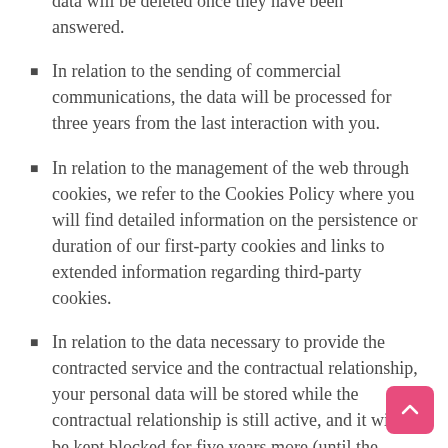In relation to your non-commercial inquiries, the data will be deleted once they have been answered.
In relation to the sending of commercial communications, the data will be processed for three years from the last interaction with you.
In relation to the management of the web through cookies, we refer to the Cookies Policy where you will find detailed information on the persistence or duration of our first-party cookies and links to extended information regarding third-party cookies.
In relation to the data necessary to provide the contracted service and the contractual relationship, your personal data will be stored while the contractual relationship is still active, and it will be kept blocked for five years more (until the prescription of any contractual liability) or a period of six years (regarding accounting information).